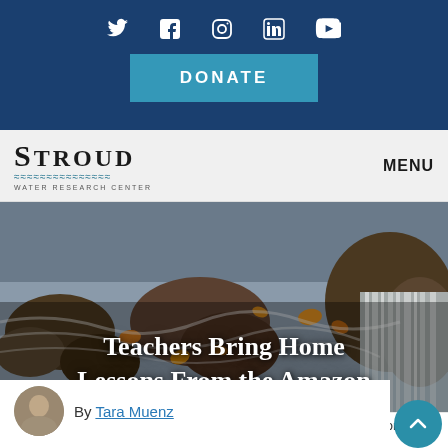Social media icons: Twitter, Facebook, Instagram, LinkedIn, YouTube
DONATE button
[Figure (logo): Stroud Water Research Center logo with wave graphic and text]
MENU
[Figure (photo): Stream with rocks, water flowing over stones with autumn leaves, waterfall cascading over smooth rock in background]
Teachers Bring Home Lessons From the Amazon
Home » Videos » Teachers Bring Home Lessons From the Amazon
By Tara Muenz